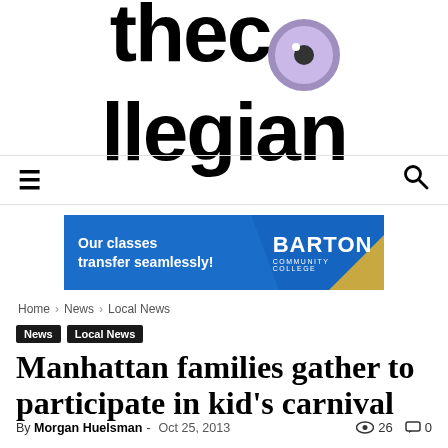[Figure (logo): Kansas State The Collegian newspaper logo with large bold 'thecollegian' text and purple circle replacing the 'o' in collegian]
[Figure (infographic): Barton Community College advertisement banner: blue background with text 'Our classes transfer seamlessly!' and 'BARTON COMMUNITY COLLEGE' with gold/yellow triangle accent]
Home › News › Local News
News  Local News
Manhattan families gather to participate in kid's carnival
By Morgan Huelsman - Oct 25, 2013  26  0